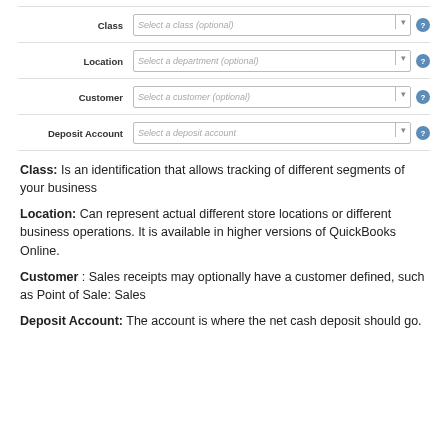[Figure (screenshot): Form fields showing Class, Location, Customer, and Deposit Account dropdowns with placeholder text and help icons]
Class:  Is an identification that allows tracking of different segments of your business
Location: Can represent actual different store locations or different business operations. It is available in higher versions of QuickBooks Online.
Customer : Sales receipts may optionally have a customer defined, such as Point of Sale: Sales
Deposit Account: The account is where the net cash deposit should go.